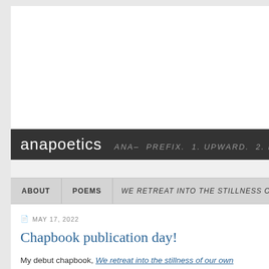[Figure (other): Advertisement area — blank white rectangle at top of page]
anapoetics ANA– PREFIX. 1. UPWARD. 2. BACKWARD
ABOUT | POEMS | WE RETREAT INTO THE STILLNESS OF...
MAY 17, 2022
Chapbook publication day!
My debut chapbook, We retreat into the stillness of our own bones, was released by Books!